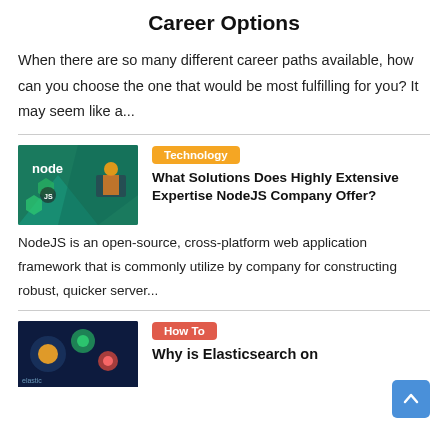Career Options
When there are so many different career paths available, how can you choose the one that would be most fulfilling for you? It may seem like a...
[Figure (illustration): NodeJS logo and developer illustration on teal background]
Technology
What Solutions Does Highly Extensive Expertise NodeJS Company Offer?
NodeJS is an open-source, cross-platform web application framework that is commonly utilize by company for constructing robust, quicker server...
[Figure (illustration): Elasticsearch logo and data visualization icons on dark blue background]
How To
Why is Elasticsearch on